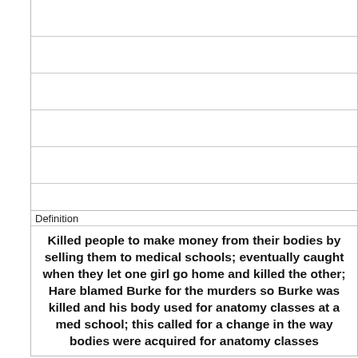Definition
Killed people to make money from their bodies by selling them to medical schools; eventually caught when they let one girl go home and killed the other; Hare blamed Burke for the murders so Burke was killed and his body used for anatomy classes at a med school; this called for a change in the way bodies were acquired for anatomy classes
Term
Egyptian 2500 BC